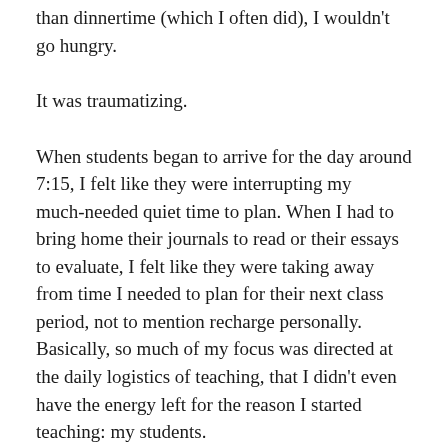than dinnertime (which I often did), I wouldn't go hungry.
It was traumatizing.
When students began to arrive for the day around 7:15, I felt like they were interrupting my much-needed quiet time to plan. When I had to bring home their journals to read or their essays to evaluate, I felt like they were taking away from time I needed to plan for their next class period, not to mention recharge personally. Basically, so much of my focus was directed at the daily logistics of teaching, that I didn't even have the energy left for the reason I started teaching: my students.
I don't want to do my first year again–not for myself and not for my students. I can't survive first-year-teacher me again (and my husband probably can't